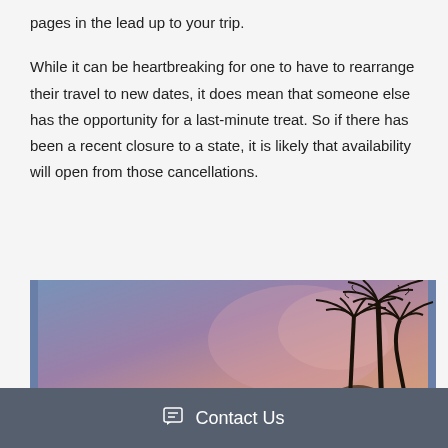pages in the lead up to your trip.
While it can be heartbreaking for one to have to rearrange their travel to new dates, it does mean that someone else has the opportunity for a last-minute treat. So if there has been a recent closure to a state, it is likely that availability will open from those cancellations.
[Figure (photo): Tropical sunset scene with silhouettes of palm trees against a gradient sky of purple, pink, and blue hues.]
Contact Us